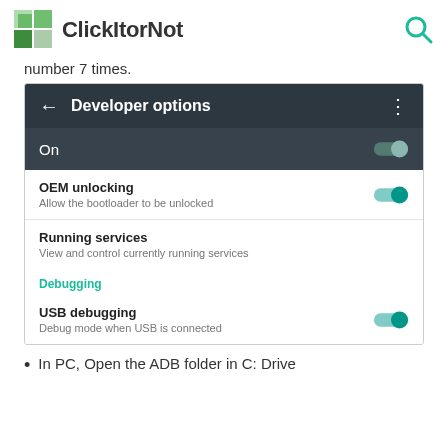ClickItorNot
number 7 times.
[Figure (screenshot): Android Developer options screen showing: On toggle (dimmed teal), OEM unlocking option with toggle on, Running services option, Debugging section header in teal, USB debugging option with toggle on.]
In PC, Open the ADB folder in C: Drive